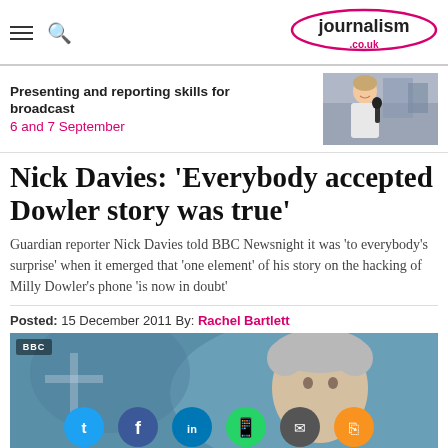journalism.co.uk
[Figure (infographic): Ad banner for 'Presenting and reporting skills for broadcast, 6 and 7 September' course with image of a female broadcast reporter holding a microphone]
Nick Davies: 'Everybody accepted Dowler story was true'
Guardian reporter Nick Davies told BBC Newsnight it was 'to everybody's surprise' when it emerged that 'one element' of his story on the hacking of Milly Dowler's phone 'is now in doubt'
Posted: 15 December 2011 By: Rachel Bartlett
[Figure (photo): BBC Newsnight screenshot showing an elderly man with grey hair against a blurred blue background, with social sharing buttons overlaid (Twitter, Facebook, LinkedIn, WhatsApp, Email, RSS)]